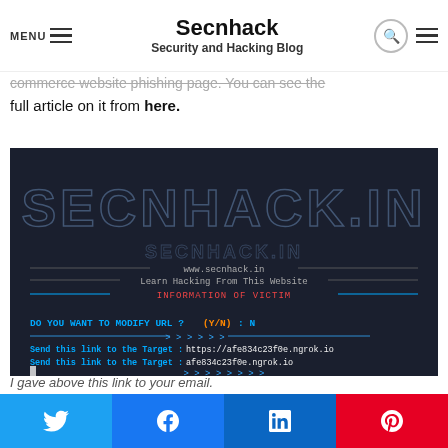MENU | Secnhack | Security and Hacking Blog
commerce website phishing page. You can see the full article on it from here.
[Figure (screenshot): Terminal screenshot showing Secnhack tool output with ngrok links: 'DO YOU WANT TO MODIFY URL ? (Y/N) : N', 'Send this link to the Target : https://afe834c23f0e.ngrok.io', 'Send this link to the Target : afe834c23f0e.ngrok.io']
I gave above this link to your email.
Social share buttons: Twitter, Facebook, LinkedIn, Pinterest